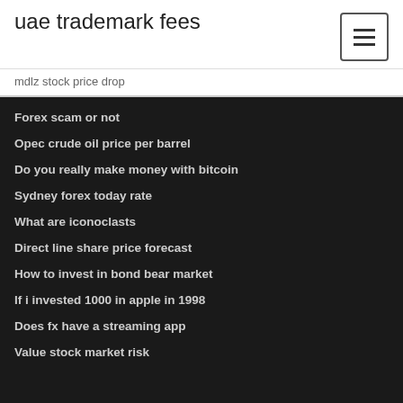uae trademark fees
mdlz stock price drop
Forex scam or not
Opec crude oil price per barrel
Do you really make money with bitcoin
Sydney forex today rate
What are iconoclasts
Direct line share price forecast
How to invest in bond bear market
If i invested 1000 in apple in 1998
Does fx have a streaming app
Value stock market risk